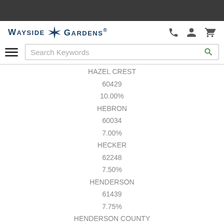[Figure (screenshot): Dark top navigation bar of Wayside Gardens website]
[Figure (logo): Wayside Gardens logo with windmill icon]
[Figure (screenshot): Search bar with hamburger menu and icons for phone, account, and cart]
HAZEL CREST
60429
10.00%
HEBRON
60034
7.00%
HECKER
62248
7.50%
HENDERSON
61439
7.75%
HENDERSON COUNTY
61425
7.25%